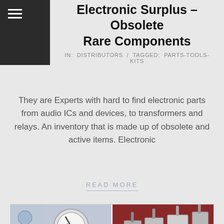Electronic Surplus – Obsolete Rare Components
IN: DISTRIBUTORS / TAGGED: PARTS-TOOLS-KITS
They are Experts with hard to find electronic parts from audio ICs and devices, to transformers and relays. An inventory that is made up of obsolete and active items. Electronic
READ MORE
[Figure (photo): 2x2 grid of electronic component photos: lab equipment with pressure gauge, stepper motors, green PCB with coil, Arduino-style microcontroller board with shield]